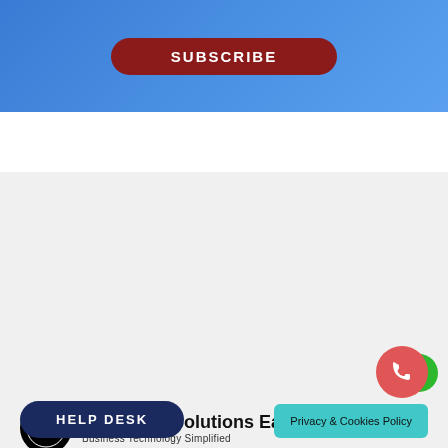[Figure (other): Blue gradient background section with a dark red rounded SUBSCRIBE button]
[Figure (logo): Computer Solutions East logo with circular S+E icon and company name and tagline Business Technology Simplified]
481 Main St #100, New Rochelle, NY 10801 United States
(914)355-5800
info@computersolutionseast.com
HELP DESK
Privacy & Cookies Policy